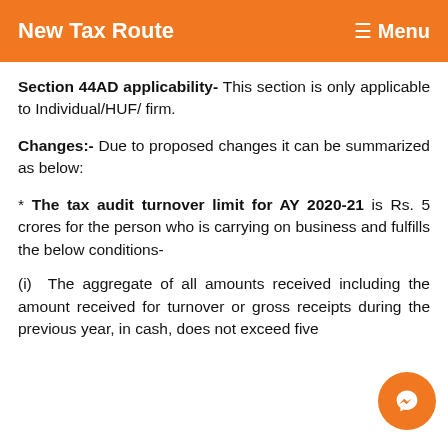New Tax Route   ≡ Menu
Section 44AD applicability- This section is only applicable to Individual/HUF/ firm.
Changes:- Due to proposed changes it can be summarized as below:
* The tax audit turnover limit for AY 2020-21 is Rs. 5 crores for the person who is carrying on business and fulfills the below conditions-
(i)  The aggregate of all amounts received including the amount received for turnover or gross receipts during the previous year, in cash, does not exceed five